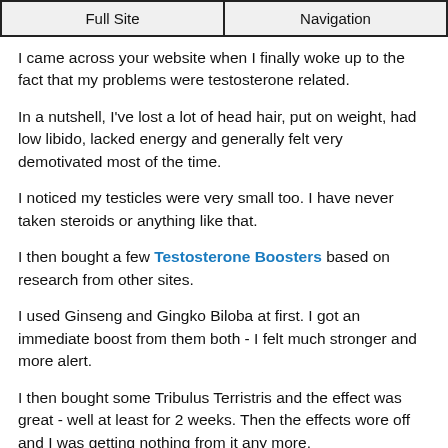Full Site | Navigation
I came across your website when I finally woke up to the fact that my problems were testosterone related.
In a nutshell, I've lost a lot of head hair, put on weight, had low libido, lacked energy and generally felt very demotivated most of the time.
I noticed my testicles were very small too. I have never taken steroids or anything like that.
I then bought a few Testosterone Boosters based on research from other sites.
I used Ginseng and Gingko Biloba at first. I got an immediate boost from them both - I felt much stronger and more alert.
I then bought some Tribulus Terristris and the effect was great - well at least for 2 weeks. Then the effects wore off and I was getting nothing from it any more.